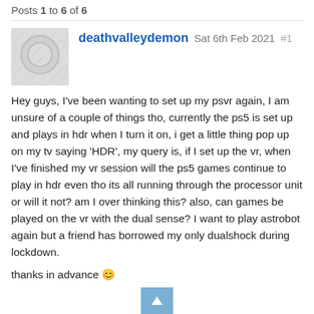Posts 1 to 6 of 6
deathvalleydemon  Sat 6th Feb 2021  #1
Hey guys, I've been wanting to set up my psvr again, I am unsure of a couple of things tho, currently the ps5 is set up and plays in hdr when I turn it on, i get a little thing pop up on my tv saying 'HDR', my query is, if I set up the vr, when I've finished my vr session will the ps5 games continue to play in hdr even tho its all running through the processor unit or will it not? am I over thinking this? also, can games be played on the vr with the dual sense? I want to play astrobot again but a friend has borrowed my only dualshock during lockdown.
thanks in advance 😊